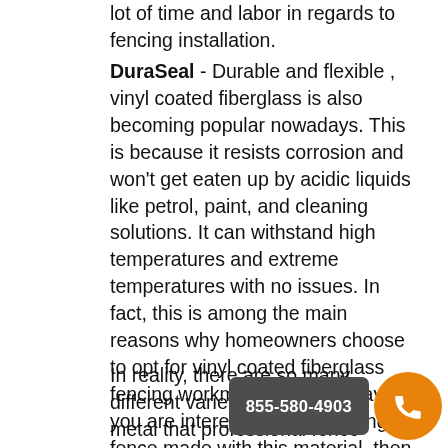lot of time and labor in regards to fencing installation.
DuraSeal - Durable and flexible , vinyl coated fiberglass is also becoming popular nowadays. This is because it resists corrosion and won't get eaten up by acidic liquids like petrol, paint, and cleaning solutions. It can withstand high temperatures and extreme temperatures with no issues. In fact, this is among the main reasons why homeowners choose to opt for vinyl coated fiberglass fencing workmanship these days. If you are interested in purchasing a fence made with this material, then you need to get in touch with some fencing companies as soon as possible.
In reality, there are so many different varieties of aluminum and metal that professional fence companies can provide you with. Should you require something which can resist chemical spills and harsh